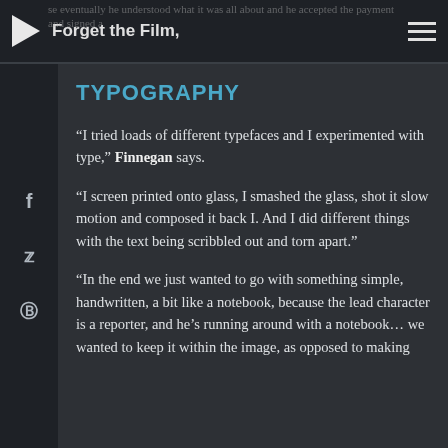Forget the Film,
TYPOGRAPHY
“I tried loads of different typefaces and I experimented with type,” Finnegan says.
“I screen printed onto glass, I smashed the glass, shot it slow motion and composed it back I. And I did different things with the text being scribbled out and torn apart.”
“In the end we just wanted to go with something simple, handwritten, a bit like a notebook, because the lead character is a reporter, and he’s running around with a notebook… we wanted to keep it within the image, as opposed to making